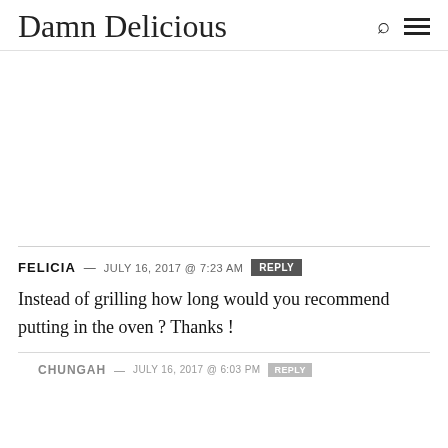Damn Delicious
FELICIA — JULY 16, 2017 @ 7:23 AM  REPLY
Instead of grilling how long would you recommend putting in the oven ? Thanks !
CHUNGAH — JULY 16, 2017 @ 6:03 PM  REPLY